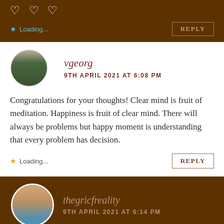[Figure (photo): Brown background section with three white heart emoji icons and a loading/reply row]
♡ ♡ ♡
Loading... REPLY
[Figure (photo): Circular avatar of a man standing in front of artwork, wearing green jacket]
vgeorg
9TH APRIL 2021 AT 6:08 PM
Congratulations for your thoughts! Clear mind is fruit of meditation. Happiness is fruit of clear mind. There will always be problems but happy moment is understanding that every problem has decision.
Loading... REPLY
[Figure (photo): Brown background section with circular avatar of two women smiling]
thegricfreality
9TH APRIL 2021 AT 6:14 PM